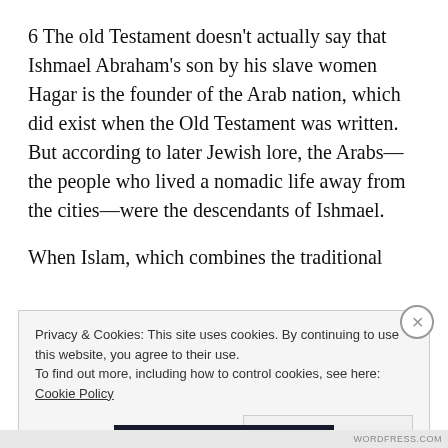6 The old Testament doesn't actually say that Ishmael Abraham's son by his slave women Hagar is the founder of the Arab nation, which did exist when the Old Testament was written. But according to later Jewish lore, the Arabs—the people who lived a nomadic life away from the cities—were the descendants of Ishmael.
When Islam, which combines the traditional
Privacy & Cookies: This site uses cookies. By continuing to use this website, you agree to their use.
To find out more, including how to control cookies, see here:
Cookie Policy
Close and accept